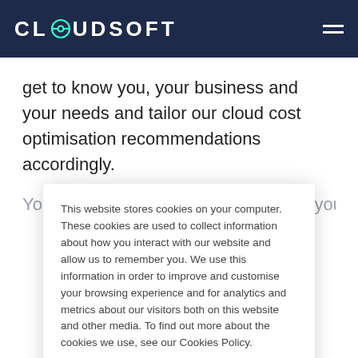CLOUDSOFT
get to know you, your business and your needs and tailor our cloud cost optimisation recommendations accordingly.
You'll get an easy-to-action plan, or if you need help
This website stores cookies on your computer. These cookies are used to collect information about how you interact with our website and allow us to remember you. We use this information in order to improve and customise your browsing experience and for analytics and metrics about our visitors both on this website and other media. To find out more about the cookies we use, see our Cookies Policy.

If you decline, your information won't be tracked when you visit this website. A single cookie will be used in your browser to remember your preference not to be tracked.
Accept
Decline